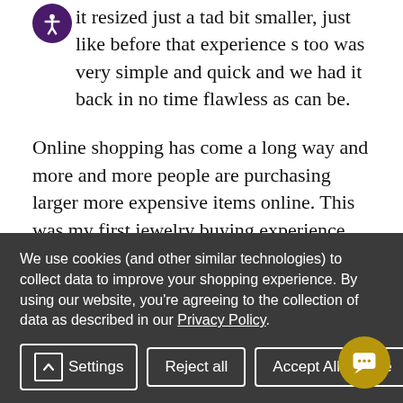it resized just a tad bit smaller, just like before that experience s too was very simple and quick and we had it back in no time flawless as can be.
Online shopping has come a long way and more and more people are purchasing larger more expensive items online. This was my first jewelry buying experience online and I must say I am amazed at the process. Gage Diamonds has incredible jewelry at amazing prices and the overall experience is something that cannot be beaten. The reviews online are definitely true and my experience exceeded my expectations. From the quality of the ring, the box, the shipping, and follow-up emails, I will definitely be recommending Gage Diamonds
We use cookies (and other similar technologies) to collect data to improve your shopping experience. By using our website, you're agreeing to the collection of data as described in our Privacy Policy.
Settings
Reject all
Accept All Cookies